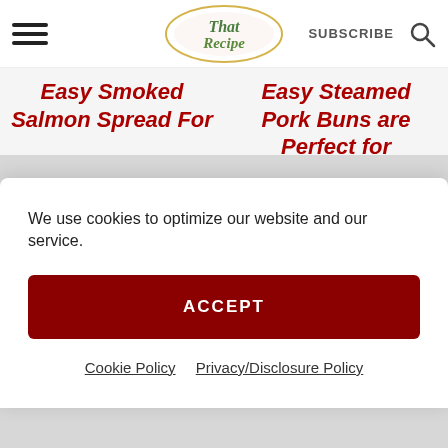That Recipe — navigation bar with hamburger menu, logo, SUBSCRIBE, search icon
Easy Smoked Salmon Spread For
Easy Steamed Pork Buns are Perfect for
We use cookies to optimize our website and our service.
ACCEPT
Cookie Policy   Privacy/Disclosure Policy